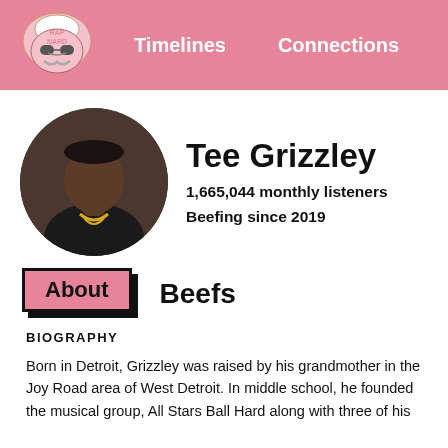Rap Nerd — Timelines   Connections
[Figure (photo): Circular photo of Tee Grizzley, a man wearing a black shirt and gold chain]
Tee Grizzley
1,665,044 monthly listeners
Beefing since 2019
About
Beefs
BIOGRAPHY
Born in Detroit, Grizzley was raised by his grandmother in the Joy Road area of West Detroit. In middle school, he founded the musical group, All Stars Ball Hard along with three of his